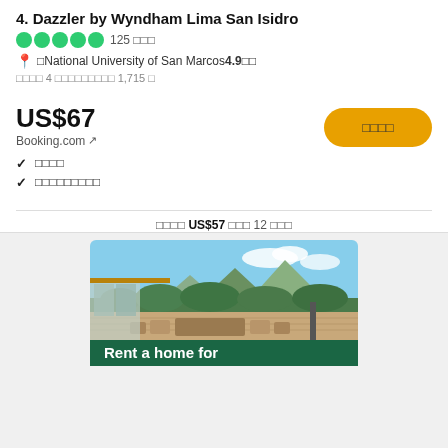4. Dazzler by Wyndham Lima San Isidro
125 reviews · National University of San Marcos 4.9km
รีวิว 4 รายการ ราคาเริ่มต้น 1,715 บ
US$67
Booking.com ↗
ดูราคา
✓ ฟรีอาหาร
✓ ฟรีอินเทอร์เน็ต
เปรียบเทียบ US$57 จาก 12 ไซต์
[Figure (photo): Advertisement showing a home outdoor terrace/patio with dining furniture, mountains in background, with green banner overlay reading 'Rent a home for']